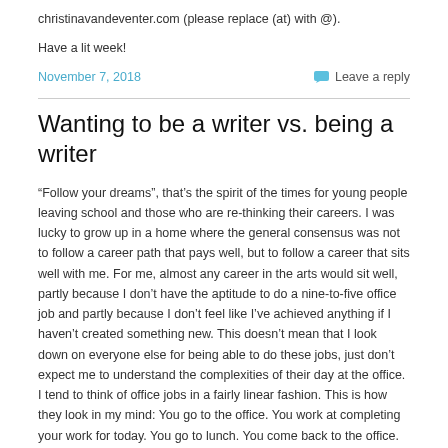christinavandeventer.com (please replace (at) with @).
Have a lit week!
November 7, 2018
Leave a reply
Wanting to be a writer vs. being a writer
“Follow your dreams”, that’s the spirit of the times for young people leaving school and those who are re-thinking their careers. I was lucky to grow up in a home where the general consensus was not to follow a career path that pays well, but to follow a career that sits well with me. For me, almost any career in the arts would sit well, partly because I don’t have the aptitude to do a nine-to-five office job and partly because I don’t feel like I’ve achieved anything if I haven’t created something new. This doesn’t mean that I look down on everyone else for being able to do these jobs, just don’t expect me to understand the complexities of their day at the office.
I tend to think of office jobs in a fairly linear fashion. This is how they look in my mind: You go to the office. You work at completing your work for today. You go to lunch. You come back to the office. You finish your